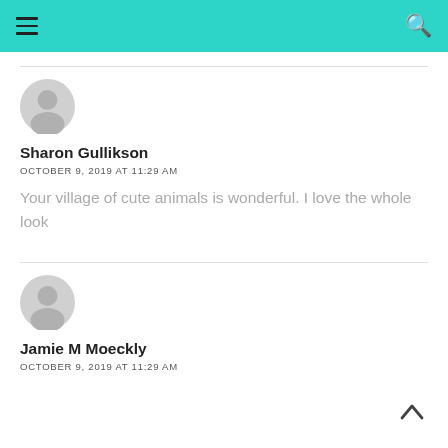Navigation header with hamburger menu and search icon
[Figure (illustration): Generic user avatar circle icon, gray, for Sharon Gullikson]
Sharon Gullikson
OCTOBER 9, 2019 AT 11:29 AM
Your village of cute animals is wonderful. I love the whole look
[Figure (illustration): Generic user avatar circle icon, gray, for Jamie M Moeckly]
Jamie M Moeckly
OCTOBER 9, 2019 AT 11:29 AM